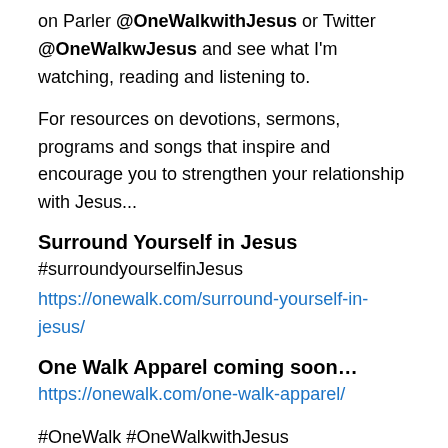on Parler @OneWalkwithJesus or Twitter @OneWalkwJesus and see what I'm watching, reading and listening to.
For resources on devotions, sermons, programs and songs that inspire and encourage you to strengthen your relationship with Jesus...
Surround Yourself in Jesus
#surroundyourselfinJesus
https://onewalk.com/surround-yourself-in-jesus/
One Walk Apparel coming soon…
https://onewalk.com/one-walk-apparel/
#OneWalk #OneWalkwithJesus #OneWalkwJesus #WalkingWithJesus #PrayWithoutCeasing #MyDailyPrayers #DailyPrayers #HearMyPrayers